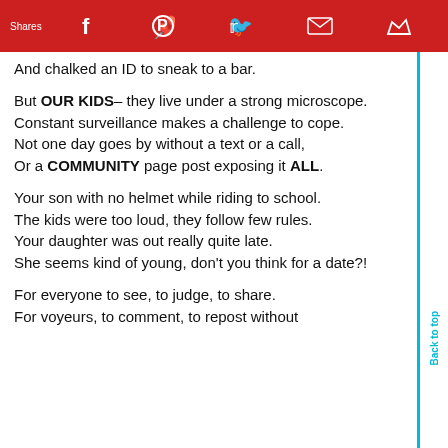Shares  [social icons: Facebook, Pinterest, Twitter, Email, Crown]
And chalked an ID to sneak to a bar.

But OUR KIDS– they live under a strong microscope.
Constant surveillance makes a challenge to cope.
Not one day goes by without a text or a call,
Or a COMMUNITY page post exposing it ALL.

Your son with no helmet while riding to school.
The kids were too loud, they follow few rules.
Your daughter was out really quite late.
She seems kind of young, don't you think for a date?!

For everyone to see, to judge, to share.
For voyeurs, to comment, to repost without